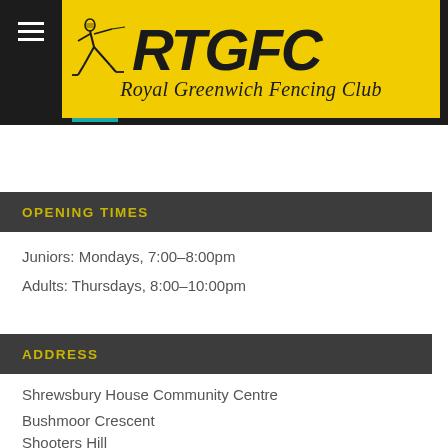[Figure (logo): Royal Greenwich Fencing Club logo with fencer illustration and RTGFC text on yellow background, with hamburger menu icon on dark background]
OPENING TIMES
Juniors: Mondays, 7:00–8:00pm
Adults: Thursdays, 8:00–10:00pm
ADDRESS
Shrewsbury House Community Centre
Bushmoor Crescent
Shooters Hill